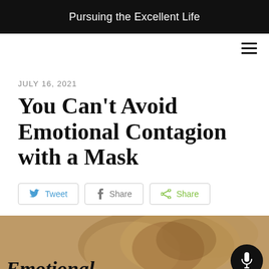Pursuing the Excellent Life
JULY 16, 2021
You Can't Avoid Emotional Contagion with a Mask
Tweet
Share
Share
[Figure (photo): A lion photo with italic bold text 'Emotional' overlaid at the bottom left, and a microphone button at bottom right]